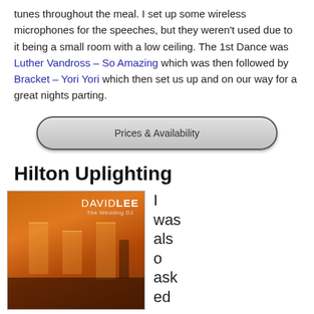tunes throughout the meal. I set up some wireless microphones for the speeches, but they weren't used due to it being a small room with a low ceiling. The 1st Dance was Luther Vandross – So Amazing which was then followed by Bracket – Yori Yori which then set us up and on our way for a great nights parting.
Prices & Availability
Hilton Uplighting
[Figure (photo): Photo of a wedding venue with warm orange uplighting on the walls, silhouettes of people in the foreground, and a 'DAVID LEE The Wedding DJ' logo in the top right corner.]
I was also asked